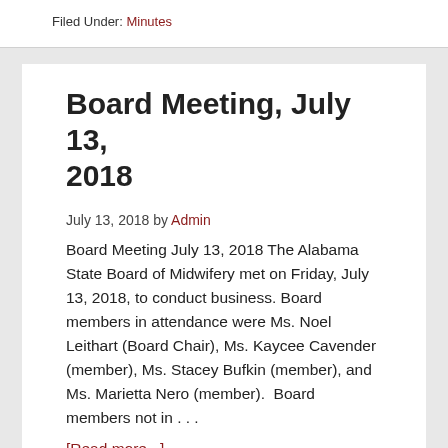Filed Under: Minutes
Board Meeting, July 13, 2018
July 13, 2018 by Admin
Board Meeting July 13, 2018 The Alabama State Board of Midwifery met on Friday, July 13, 2018, to conduct business. Board members in attendance were Ms. Noel Leithart (Board Chair), Ms. Kaycee Cavender (member), Ms. Stacey Bufkin (member), and Ms. Marietta Nero (member).  Board members not in . . .
[Read more...]